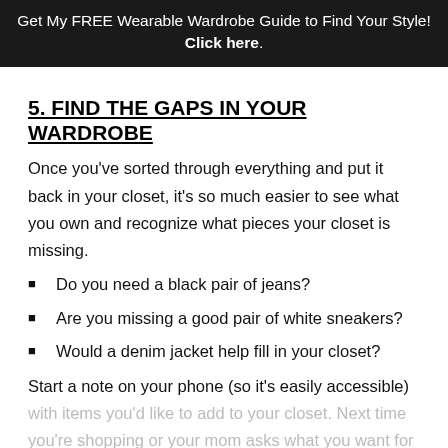Get My FREE Wearable Wardrobe Guide to Find Your Style! Click here.
5. FIND THE GAPS IN YOUR WARDROBE
Once you've sorted through everything and put it back in your closet, it's so much easier to see what you own and recognize what pieces your closet is missing.
Do you need a black pair of jeans?
Are you missing a good pair of white sneakers?
Would a denim jacket help fill in your closet?
Start a note on your phone (so it's easily accessible) with items you'd like to add to your closet. Next time you're shopping or your mom asks what you want for